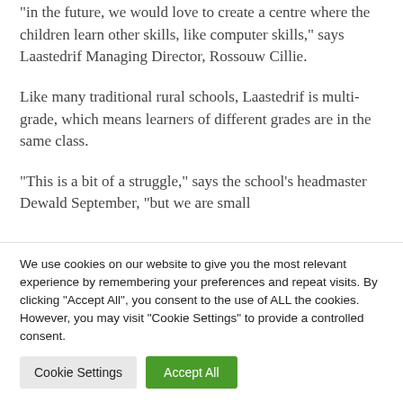“in the future, we would love to create a centre where the children learn other skills, like computer skills,” says Laastedrif Managing Director, Rossouw Cillie.
Like many traditional rural schools, Laastedrif is multi-grade, which means learners of different grades are in the same class.
“This is a bit of a struggle,” says the school’s headmaster Dewald September, “but we are small
We use cookies on our website to give you the most relevant experience by remembering your preferences and repeat visits. By clicking “Accept All”, you consent to the use of ALL the cookies. However, you may visit "Cookie Settings" to provide a controlled consent.